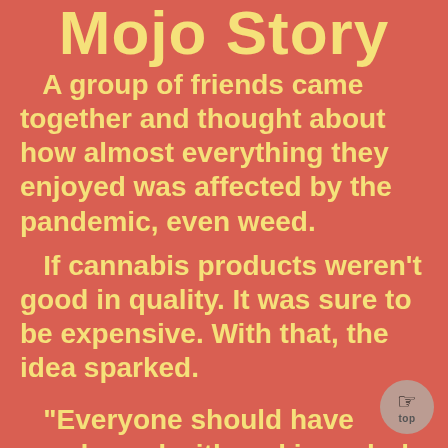Mojo Story
A group of friends came together and thought about how almost everything they enjoyed was affected by the pandemic, even weed.
If cannabis products weren't good in quality. It was sure to be expensive. With that, the idea sparked.
“Everyone should have good weed with making a hole in their pocket”.